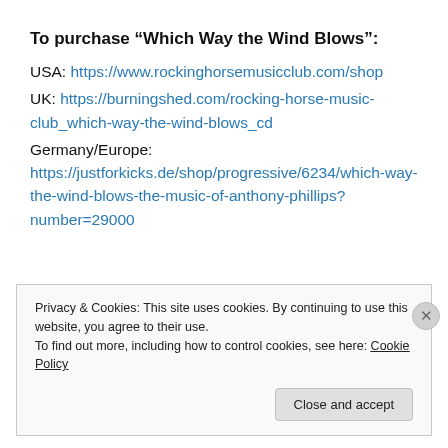To purchase “Which Way the Wind Blows”:
USA: https://www.rockinghorsemusicclub.com/shop
UK: https://burningshed.com/rocking-horse-music-club_which-way-the-wind-blows_cd
Germany/Europe:
https://justforkicks.de/shop/progressive/6234/which-way-the-wind-blows-the-music-of-anthony-phillips?number=29000
Privacy & Cookies: This site uses cookies. By continuing to use this website, you agree to their use.
To find out more, including how to control cookies, see here: Cookie Policy
Close and accept